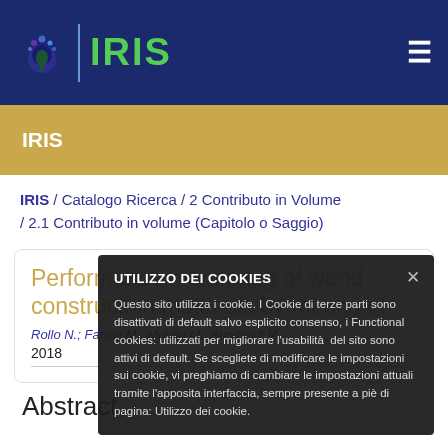IRIS
IRIS
IRIS / Catalogo Ricerca / 2 Contributo in Volume / 2.1 Contributo in volume (Capitolo o Saggio)
Performance monitoring of wood construction materials by means of...
Rollo N.; Fantilli M.; Murillo M.; Annibaldi V.
2018
Abstract
UTILIZZO DEI COOKIES
Questo sito utilizza i cookie. I Cookie di terze parti sono disattivati di default salvo esplicito consenso, i Functional cookies: utilizzati per migliorare l'usabilità del sito sono attivi di default. Se scegliete di modificare le impostazioni sui cookie, vi preghiamo di cambiare le impostazioni attuali tramite l'apposita interfaccia, sempre presente a piè di pagina: Utilizzo dei cookie.